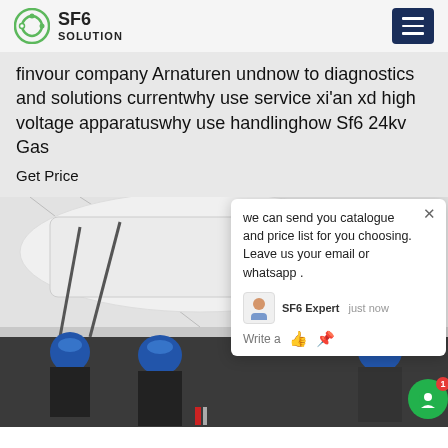SF6 SOLUTION
finvour company Arnaturen undnow to diagnostics and solutions currentwhy use service xi'an xd high voltage apparatuswhy use handlinghow Sf6 24kv Gas
Get Price
[Figure (photo): Workers in blue hard hats installing or inspecting large white electrical high-voltage equipment indoors, viewed from below.]
[Figure (screenshot): Chat popup overlay: 'we can send you catalogue and price list for you choosing. Leave us your email or whatsapp .' with SF6 Expert avatar, timestamp 'just now', and write/thumbs-up/clip icons.]